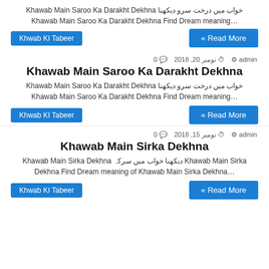خواب میں درخت سرو دیکھنا Khawab Main Saroo Ka Darakht Dekhna …Khawab Main Saroo Ka Darakht Dekhna Find Dream meaning
Khwab KI Tabeer | « Read More
admin  نومبر 20, 2018  0
Khawab Main Saroo Ka Darakht Dekhna
خواب میں درخت سرو دیکھنا Khawab Main Saroo Ka Darakht Dekhna …Khawab Main Saroo Ka Darakht Dekhna Find Dream meaning
Khwab KI Tabeer | « Read More
admin  نومبر 15, 2018  0
Khawab Main Sirka Dekhna
Khawab Main Sirka دیکھنا خواب میں سرکہ Khawab Main Sirka Dekhna …Dekhna Find Dream meaning of Khawab Main Sirka Dekhna
Khwab KI Tabeer | « Read More